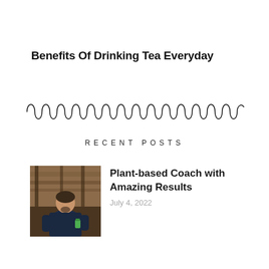Benefits Of Drinking Tea Everyday
[Figure (illustration): Decorative curly/loopy line divider illustration]
RECENT POSTS
[Figure (photo): Photo of a man in a dark blue shirt standing in what appears to be a restaurant or bar, holding a green drink]
Plant-based Coach with Amazing Results
July 4, 2022